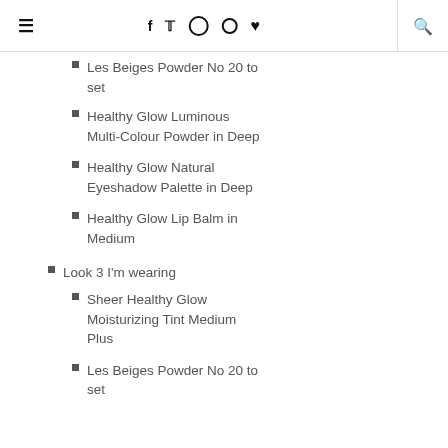≡  f  𝕏  ◎  ⊕  ♥  🔍
Les Beiges Powder No 20 to set
Healthy Glow Luminous Multi-Colour Powder in Deep
Healthy Glow Natural Eyeshadow Palette in Deep
Healthy Glow Lip Balm in Medium
Look 3 I'm wearing
Sheer Healthy Glow Moisturizing Tint Medium Plus
Les Beiges Powder No 20 to set